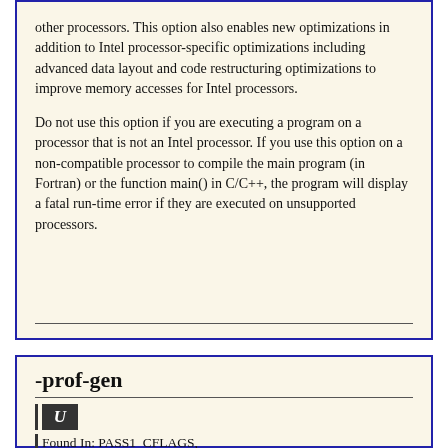other processors. This option also enables new optimizations in addition to Intel processor-specific optimizations including advanced data layout and code restructuring optimizations to improve memory accesses for Intel processors.

Do not use this option if you are executing a program on a processor that is not an Intel processor. If you use this option on a non-compatible processor to compile the main program (in Fortran) or the function main() in C/C++, the program will display a fatal run-time error if they are executed on unsupported processors.
-prof-gen
U
Found In: PASS1_CFLAGS, PASS1_LDCFLAGS,